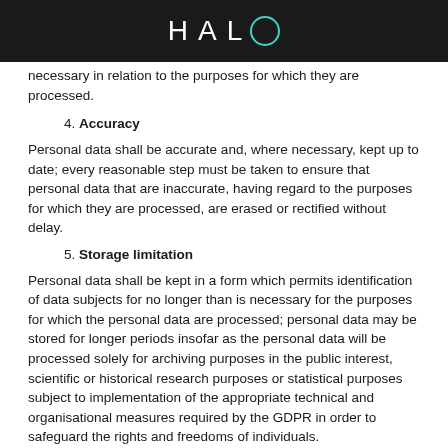HALO
necessary in relation to the purposes for which they are processed.
4. Accuracy
Personal data shall be accurate and, where necessary, kept up to date; every reasonable step must be taken to ensure that personal data that are inaccurate, having regard to the purposes for which they are processed, are erased or rectified without delay.
5. Storage limitation
Personal data shall be kept in a form which permits identification of data subjects for no longer than is necessary for the purposes for which the personal data are processed; personal data may be stored for longer periods insofar as the personal data will be processed solely for archiving purposes in the public interest, scientific or historical research purposes or statistical purposes subject to implementation of the appropriate technical and organisational measures required by the GDPR in order to safeguard the rights and freedoms of individuals.
6. Integrity and confidentiality